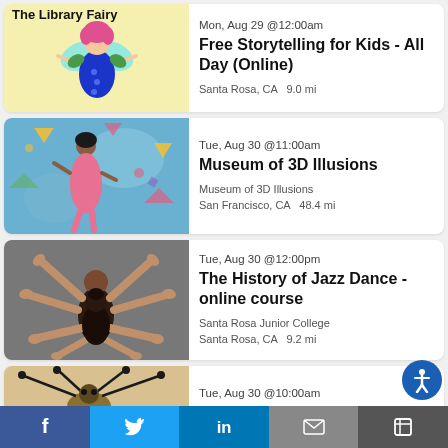[Figure (screenshot): Event listing card 1: Library Fairy illustration with fairy character in blue dress, event: Free Storytelling for Kids - All Day (Online), Mon Aug 29 @12:00am, Santa Rosa CA 9.0 mi]
[Figure (screenshot): Event listing card 2: Museum of 3D Illusions, woman dancing in pink dress against colorful background, Tue Aug 30 @11:00am, Museum of 3D Illusions, San Francisco CA 48.4 mi]
[Figure (screenshot): Event listing card 3: The History of Jazz Dance - online course, multiple arms radiating from two dancers, Tue Aug 30 @12:00pm, Santa Rosa Junior College, Santa Rosa CA 9.2 mi]
[Figure (screenshot): Event listing card 4 (partial): Insect illustration visible, Tue Aug 30 @10:00am]